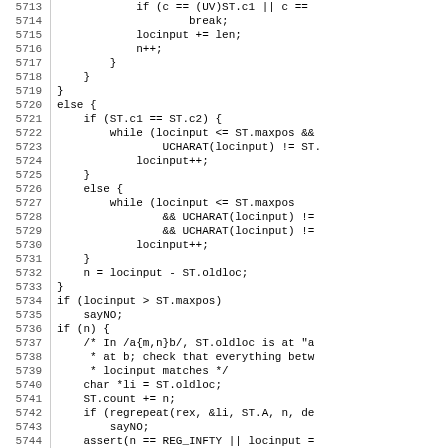Source code listing, lines 5713-5745, C source code with line numbers